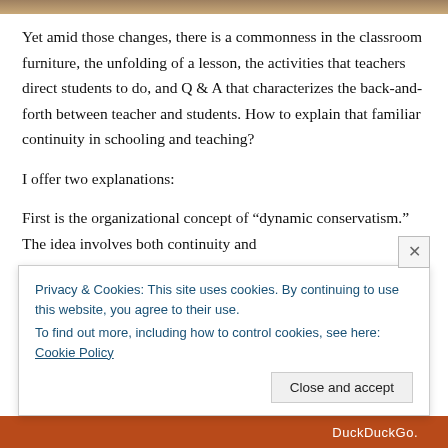Yet amid those changes, there is a commonness in the classroom furniture, the unfolding of a lesson, the activities that teachers direct students to do, and Q & A that characterizes the back-and-forth between teacher and students. How to explain that familiar continuity in schooling and teaching?
I offer two explanations:
First is the organizational concept of “dynamic conservatism.” The idea involves both continuity and
[Figure (screenshot): Cookie consent banner overlay reading: Privacy & Cookies: This site uses cookies. By continuing to use this website, you agree to their use. To find out more, including how to control cookies, see here: Cookie Policy. With a 'Close and accept' button.]
[Figure (screenshot): Bottom orange strip with DuckDuckGo text visible at the bottom of the page.]